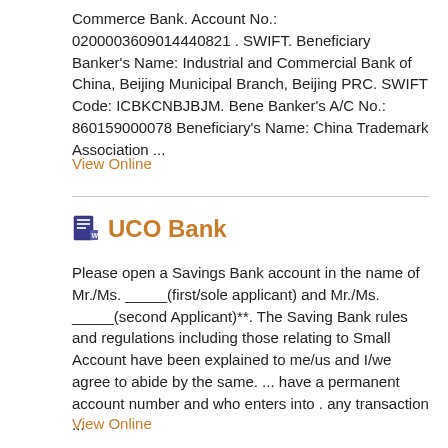Commerce Bank. Account No.: 0200003609014440821 . SWIFT. Beneficiary Banker's Name: Industrial and Commercial Bank of China, Beijing Municipal Branch, Beijing PRC. SWIFT Code: ICBKCNBJBJM. Bene Banker's A/C No.: 860159000078 Beneficiary's Name: China Trademark Association ...
View Online
UCO Bank
Please open a Savings Bank account in the name of Mr./Ms. _____(first/sole applicant) and Mr./Ms. _____(second Applicant)**. The Saving Bank rules and regulations including those relating to Small Account have been explained to me/us and I/we agree to abide by the same. ... have a permanent account number and who enters into . any transaction ...
View Online